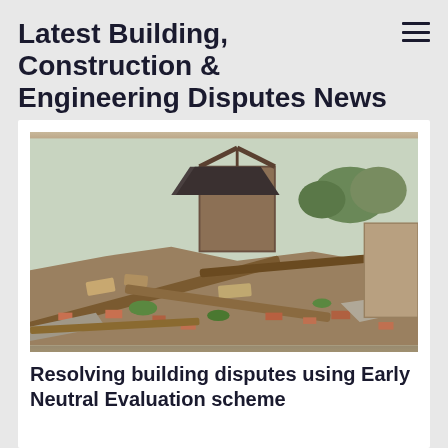Latest Building, Construction & Engineering Disputes News
[Figure (photo): Photograph of a demolished building with debris, fallen timber, and rubble in the foreground, and a partially standing timber-framed structure in the background]
Resolving building disputes using Early Neutral Evaluation scheme
Mark Cummings